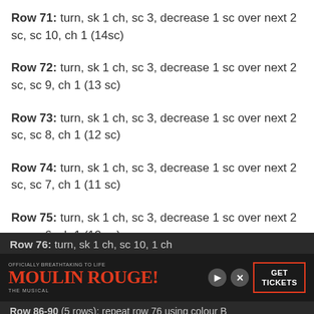Row 71: turn, sk 1 ch, sc 3, decrease 1 sc over next 2 sc, sc 10, ch 1  (14sc)
Row 72: turn, sk 1 ch, sc 3, decrease 1 sc over next 2 sc, sc 9, ch 1  (13 sc)
Row 73: turn, sk 1 ch, sc 3, decrease 1 sc over next 2 sc, sc 8, ch 1  (12 sc)
Row 74: turn, sk 1 ch, sc 3, decrease 1 sc over next 2 sc, sc 7, ch 1  (11 sc)
Row 75: turn, sk 1 ch, sc 3, decrease 1 sc over next 2 sc, sc 6, ch 1  (10 sc)
Row 76: turn, sk 1 ch, sc 10, 1 ch
[Figure (other): Moulin Rouge advertisement banner with logo and GET TICKETS button]
Row 86-90 (5 rows): repeat row 76 using colour B